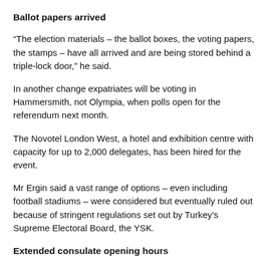Ballot papers arrived
“The election materials – the ballot boxes, the voting papers, the stamps – have all arrived and are being stored behind a triple-lock door,” he said.
In another change expatriates will be voting in Hammersmith, not Olympia, when polls open for the referendum next month.
The Novotel London West, a hotel and exhibition centre with capacity for up to 2,000 delegates, has been hired for the event.
Mr Ergin said a vast range of options – even including football stadiums – were considered but eventually ruled out because of stringent regulations set out by Turkey’s Supreme Electoral Board, the YSK.
Extended consulate opening hours